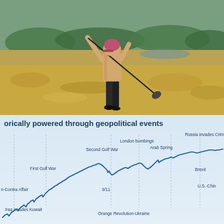[Figure (photo): A golfer mid-swing on an open dry grass golf course, viewed from behind. The golfer wears a pink/red cap, light shirt, and dark shorts. Trees and hills visible in background.]
orically powered through geopolitical events
[Figure (continuous-plot): A line chart showing stock market performance through geopolitical events over time. The line trends upward overall from bottom-left to upper-right. Labeled events include: Iran-Contra Affair, Iraq invades Kuwait, First Gulf War, Second Gulf War, 9/11, Orange Revolution-Ukraine, London bombings, Arab Spring, Russia invades Crimea, Brexit, U.S.-China (trade war). The line is blue on a light blue background.]